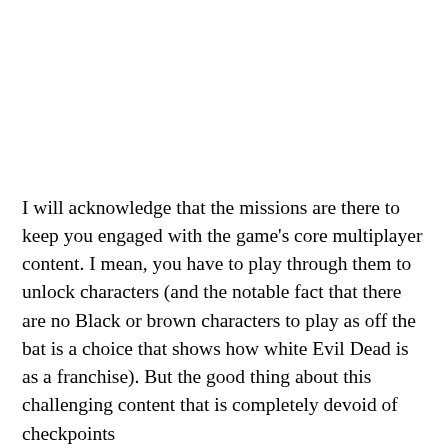I will acknowledge that the missions are there to keep you engaged with the game's core multiplayer content. I mean, you have to play through them to unlock characters (and the notable fact that there are no Black or brown characters to play as off the bat is a choice that shows how white Evil Dead is as a franchise). But the good thing about this challenging content that is completely devoid of checkpoints